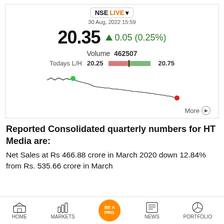[Figure (screenshot): NSE Live stock widget showing HT Media stock price 20.35, up 0.05 (0.25%), volume 462507, today's low/high 20.25–20.75, with an intraday price chart showing a declining trend with green dot at start and red dot at end, and a 'More' link.]
Reported Consolidated quarterly numbers for HT Media are:
Net Sales at Rs 466.88 crore in March 2020 down 12.84% from Rs. 535.66 crore in March
HOME   MARKETS   BE A PRO   NEWS   PORTFOLIO